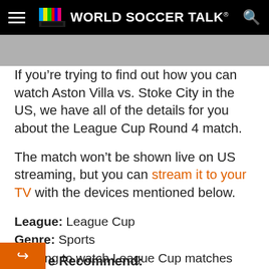WORLD SOCCER TALK
[Figure (screenshot): Partially visible image strip below the header navigation bar]
If you're trying to find out how you can watch Aston Villa vs. Stoke City in the US, we have all of the details for you about the League Cup Round 4 match.
The match won't be shown live on US streaming, but you can stream it to your TV with the devices mentioned below.
League: League Cup
Genre: Sports
Looking to watch League Cup matches online from your office, home or on the go? If you live in the USA, there are several options to catch all the action.
e Recommend: